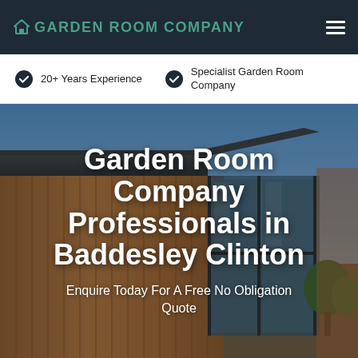Garden Room Company
20+ Years Experience
Specialist Garden Room Company
[Figure (photo): Exterior photo of a modern garden room with timber cladding, flat grey roof, and large glass doors, set against a blue sky.]
Garden Room Company Professionals in Baddesley Clinton
Enquire Today For A Free No Obligation Quote